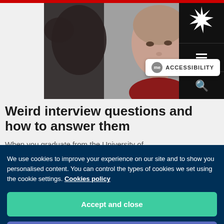[Figure (photo): Close-up photo of a young woman looking attentive, with a hand gesture visible in the foreground, set in an interview or classroom context. Navigation bar with university logo, hamburger menu, and search icon overlaid on the right side.]
Weird interview questions and how to answer them
When you graduate from the University of
We use cookies to improve your experience on our site and to show you personalised content. You can control the types of cookies we set using the cookie settings. Cookies policy
Accept and close
Cookie settings